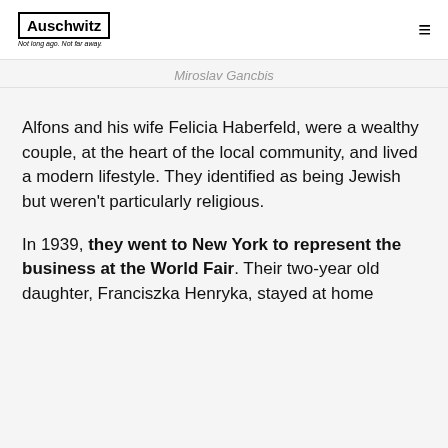Auschwitz — Not long ago. Not far away.
Miroslav Gancbis
Alfons and his wife Felicia Haberfeld, were a wealthy couple, at the heart of the local community, and lived a modern lifestyle. They identified as being Jewish but weren't particularly religious.
In 1939, they went to New York to represent the business at the World Fair. Their two-year old daughter, Franciszka Henryka, stayed at home